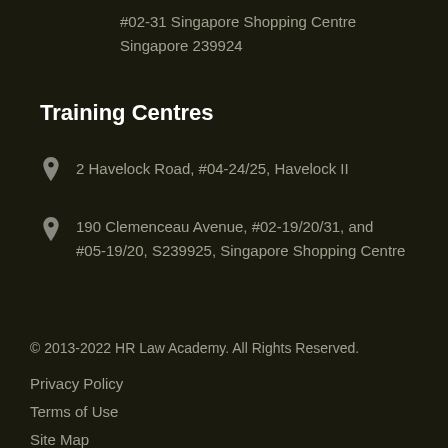#02-31 Singapore Shopping Centre
Singapore 239924
Training Centres
2 Havelock Road, #04-24/25, Havelock II
190 Clemenceau Avenue, #02-19/20/31, and #05-19/20, S239925, Singapore Shopping Centre
© 2013-2022 HR Law Academy. All Rights Reserved.
Privacy Policy
Terms of Use
Site Map